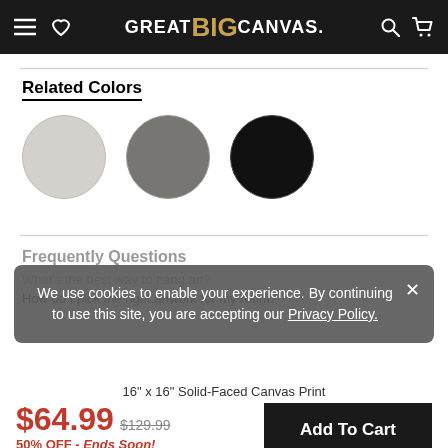GREAT BIG CANVAS.
Related Colors
[Figure (illustration): Three color swatches as circles: light gray, medium gray, black]
Frequently Questions
What's the best way to hang art?
How do I pick the right artwork for my room?
We use cookies to enable your experience. By continuing to use this site, you are accepting our Privacy Policy.
16" x 16" Solid-Faced Canvas Print
$64.99  $129.99  50% OFF - Ends Soon!
Add To Cart